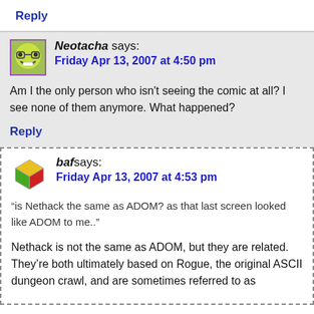Reply
Neotacha says:
Friday Apr 13, 2007 at 4:50 pm
Am I the only person who isn't seeing the comic at all? I see none of them anymore. What happened?
Reply
baf says:
Friday Apr 13, 2007 at 4:53 pm
“is Nethack the same as ADOM? as that last screen looked like ADOM to me..”
Nethack is not the same as ADOM, but they are related. They’re both ultimately based on Rogue, the original ASCII dungeon crawl, and are sometimes referred to as